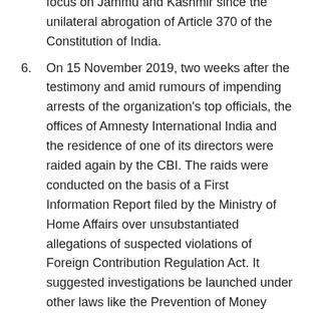(continuation) human rights in South Asia with a specific focus on Jammu and Kashmir since the unilateral abrogation of Article 370 of the Constitution of India.
6. On 15 November 2019, two weeks after the testimony and amid rumours of impending arrests of the organization's top officials, the offices of Amnesty International India and the residence of one of its directors were raided again by the CBI. The raids were conducted on the basis of a First Information Report filed by the Ministry of Home Affairs over unsubstantiated allegations of suspected violations of Foreign Contribution Regulation Act. It suggested investigations be launched under other laws like the Prevention of Money Laundering Act.
7. On 13 April 2020, Amnesty International India called on the Uttar Pradesh Government to stop its intimidation of journalists through use of repressive laws during a